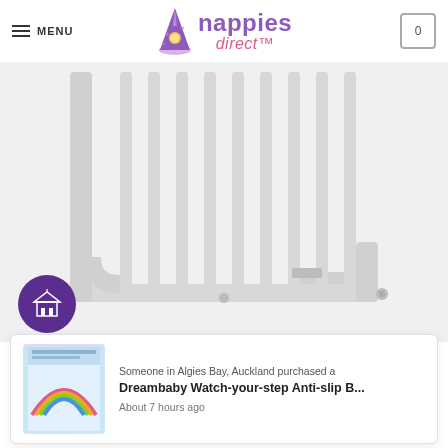MENU | nappies direct™
[Figure (photo): White metal baby safety gate shown close-up, with vertical bars and horizontal bottom rail with wall mounting bolts]
[Figure (photo): Small product thumbnail showing Dreambaby Watch-your-step Anti-slip Bath Mat packaging]
Someone in Algies Bay, Auckland purchased a
Dreambaby Watch-your-step Anti-slip B...
About 7 hours ago